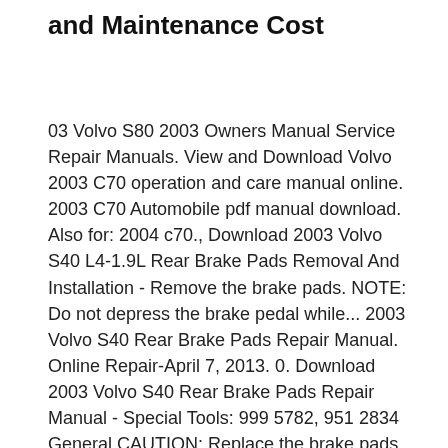and Maintenance Cost
03 Volvo S80 2003 Owners Manual Service Repair Manuals. View and Download Volvo 2003 C70 operation and care manual online. 2003 C70 Automobile pdf manual download. Also for: 2004 c70., Download 2003 Volvo S40 L4-1.9L Rear Brake Pads Removal And Installation - Remove the brake pads. NOTE: Do not depress the brake pedal while... 2003 Volvo S40 Rear Brake Pads Repair Manual. Online Repair-April 7, 2013. 0. Download 2003 Volvo S40 Rear Brake Pads Repair Manual - Special Tools: 999 5782, 951 2834 General CAUTION: Replace the brake pads on then 2003 Volvo S40